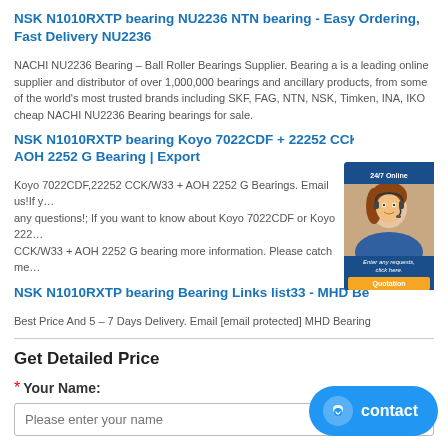NSK N1010RXTP bearing NU2236 NTN bearing - Easy Ordering, Fast Delivery NU2236
NACHI NU2236 Bearing – Ball Roller Bearings Supplier. Bearing a is a leading online supplier and distributor of over 1,000,000 bearings and ancillary products, from some of the world's most trusted brands including SKF, FAG, NTN, NSK, Timken, INA, IKO cheap NACHI NU2236 Bearing bearings for sale.
NSK N1010RXTP bearing Koyo 7022CDF + 22252 CCK/W33 + AOH 2252 G Bearing | Export
Koyo 7022CDF,22252 CCK/W33 + AOH 2252 G Bearings. Email us!If you have any questions!; If you want to know about Koyo 7022CDF or Koyo 22252 CCK/W33 + AOH 2252 G bearing more information. Please catch me!
NSK N1010RXTP bearing Bearing Links list33 - MHD Bearing
Best Price And 5 – 7 Days Delivery. Email [email protected] MHD Bearing
[Figure (photo): Customer service representative (woman wearing headset) with '24/7 Online' banner and 'Enter any requests, click here.' text and 'Quotation' orange button overlay widget]
Get Detailed Price
* Your Name:
Please enter your name
[Figure (other): Blue contact button with chat icon in bottom-right corner]